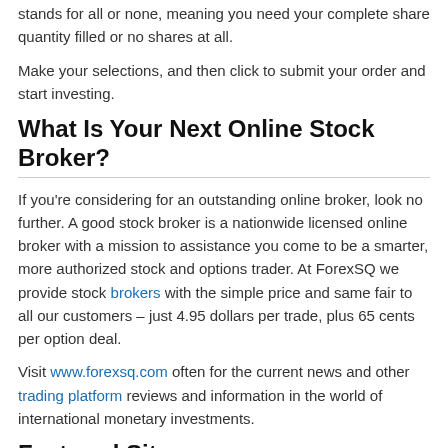stands for all or none, meaning you need your complete share quantity filled or no shares at all.
Make your selections, and then click to submit your order and start investing.
What Is Your Next Online Stock Broker?
If you're considering for an outstanding online broker, look no further. A good stock broker is a nationwide licensed online broker with a mission to assistance you come to be a smarter, more authorized stock and options trader. At ForexSQ we provide stock brokers with the simple price and same fair to all our customers – just 4.95 dollars per trade, plus 65 cents per option deal.
Visit www.forexsq.com often for the current news and other trading platform reviews and information in the world of international monetary investments.
Featured Site
Fxstay